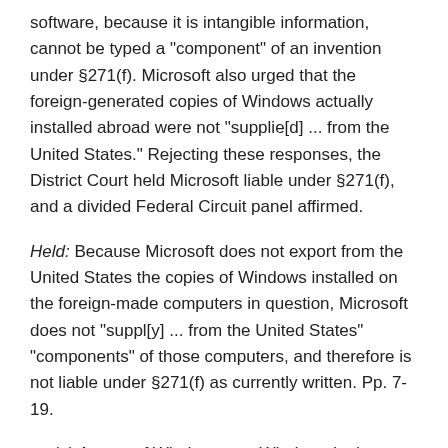software, because it is intangible information, cannot be typed a "component" of an invention under §271(f). Microsoft also urged that the foreign-generated copies of Windows actually installed abroad were not "supplie[d] ... from the United States." Rejecting these responses, the District Court held Microsoft liable under §271(f), and a divided Federal Circuit panel affirmed.
Held: Because Microsoft does not export from the United States the copies of Windows installed on the foreign-made computers in question, Microsoft does not "suppl[y] ... from the United States" "components" of those computers, and therefore is not liable under §271(f) as currently written. Pp. 7-19.
(a) A copy of Windows, not Windows in the abstract, qualifies as a "component" under §271(f). Section 271(f) attaches liability to the supply abroad of the "components of